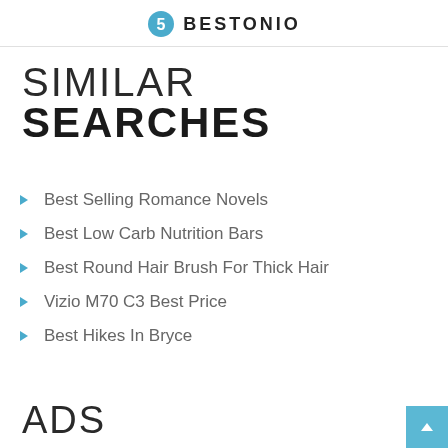BESTONIO
SIMILAR SEARCHES
Best Selling Romance Novels
Best Low Carb Nutrition Bars
Best Round Hair Brush For Thick Hair
Vizio M70 C3 Best Price
Best Hikes In Bryce
ADS